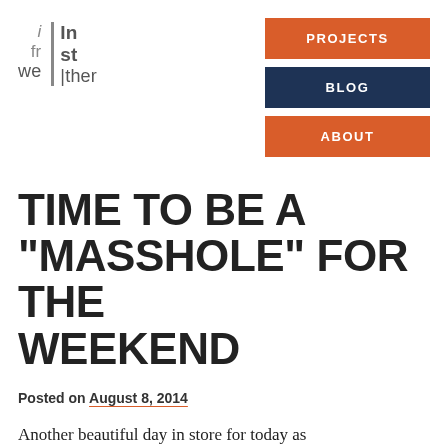[Figure (logo): Website logo with stacked text grid: i/fr/we on left, In/st/|ther on right with vertical divider, gray color scheme]
PROJECTS | BLOG | ABOUT
TIME TO BE A “MASSHOLE” FOR THE WEEKEND
Posted on August 8, 2014
Another beautiful day in store for today as